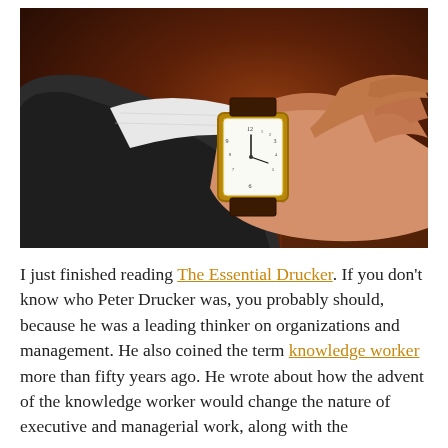[Figure (photo): Close-up photo of a person in a dark suit adjusting a gold rectangular wristwatch. The person's hand and wrist are visible against a blurred warm brown background.]
I just finished reading The Essential Drucker. If you don't know who Peter Drucker was, you probably should, because he was a leading thinker on organizations and management. He also coined the term knowledge worker more than fifty years ago. He wrote about how the advent of the knowledge worker would change the nature of executive and managerial work, along with the